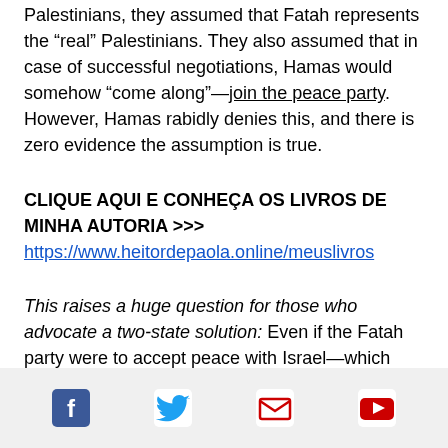Palestinians, they assumed that Fatah represents the “real” Palestinians. They also assumed that in case of successful negotiations, Hamas would somehow “come along”—join the peace party. However, Hamas rabidly denies this, and there is zero evidence the assumption is true.
CLIQUE AQUI E CONHEÇA OS LIVROS DE MINHA AUTORIA >>> https://www.heitordepaola.online/meuslivros
This raises a huge question for those who advocate a two-state solution: Even if the Fatah party were to accept peace with Israel—which they have refused to do for
[Figure (infographic): Social media share bar with icons for Facebook (blue), Twitter (blue bird), Email (red envelope), and YouTube (red play button)]